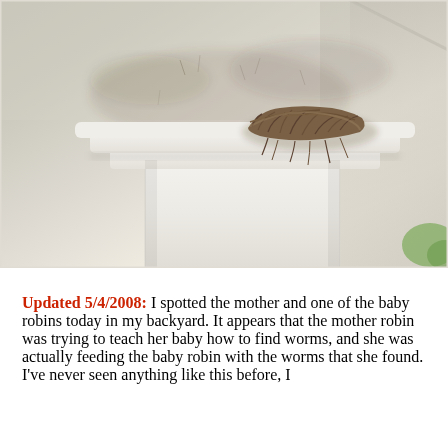[Figure (photo): Photograph of a bird's nest made of twigs and straw sitting in the corner of a white painted porch soffit or column cap. The white architectural trim is visible below the nest, with stains and debris on the white ceiling surface.]
Updated 5/4/2008: I spotted the mother and one of the baby robins today in my backyard. It appears that the mother robin was trying to teach her baby how to find worms, and she was actually feeding the baby robin with the worms that she found. I've never seen anything like this before, I